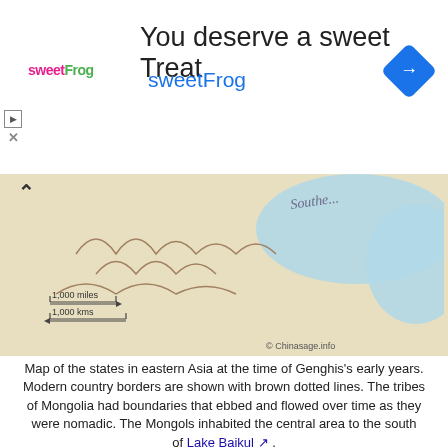[Figure (other): Advertisement banner for sweetFrog frozen yogurt. Text: 'You deserve a sweet Treat' and 'sweetFrog' with logo and navigation icon.]
[Figure (map): Historical map of eastern Asia showing states at the time of Genghis Khan's early years, with terrain markings, blue water bodies labeled 'Southe...', scale bars for 1,000 miles and 1,000 kms, and credit to Chinasage.info.]
Map of the states in eastern Asia at the time of Genghis's early years. Modern country borders are shown with brown dotted lines. The tribes of Mongolia had boundaries that ebbed and flowed over time as they were nomadic. The Mongols inhabited the central area to the south of Lake Baikul ↗ .
[Figure (illustration): Decorative illustration of a butterfly with colorful wings (brown, orange, green, yellow) on the left side of the proverb box.]
Proverb
画虎类犬
Huà hǔ lèi quǎn
A drawing of a tiger that looks like a dog
Foolishly undertaking something over-ambitious and coming a cropper. Taking on something beyond your ability. Puffed up with self-conceit.
Roughly equivalent to: The pride of the peacock.